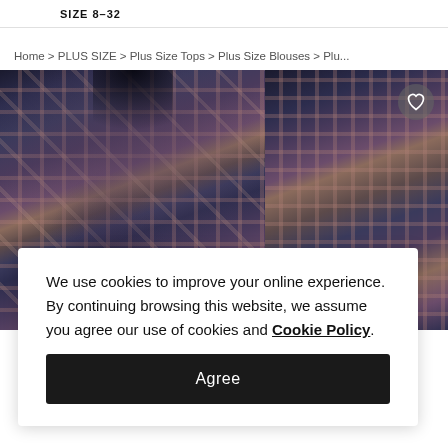SIZE 8-32
Home > PLUS SIZE > Plus Size Tops > Plus Size Blouses > Plu...
[Figure (photo): Two plaid flannel shirts/blouses in dark navy and burgundy plaid pattern, displayed as product images on a retail website]
We use cookies to improve your online experience. By continuing browsing this website, we assume you agree our use of cookies and Cookie Policy.
Agree